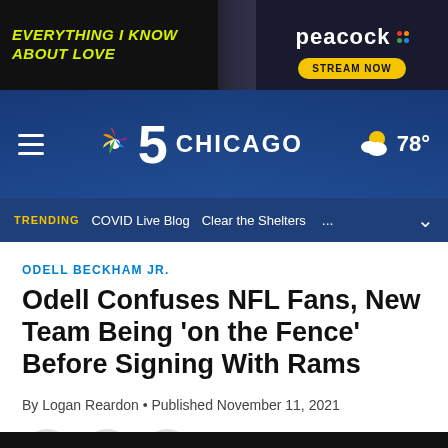[Figure (screenshot): Peacock streaming service advertisement banner showing 'Everything I Know About Love' with show imagery and 'Stream Now' button]
[Figure (screenshot): NBC 5 Chicago website header with hamburger menu, NBC peacock logo, channel number 5, CHICAGO text, and weather showing 78 degrees]
[Figure (screenshot): Trending navigation bar with TRENDING label in gold, COVID Live Blog, Clear the Shelters links]
ODELL BECKHAM JR.
Odell Confuses NFL Fans, New Team Being ‘on the Fence’ Before Signing With Rams
By Logan Reardon • Published November 11, 2021
[Figure (screenshot): Social sharing buttons: Facebook, Twitter, Email]